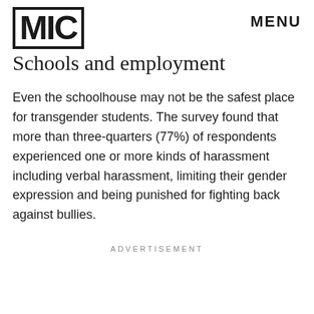MIC   MENU
Schools and employment
Even the schoolhouse may not be the safest place for transgender students. The survey found that more than three-quarters (77%) of respondents experienced one or more kinds of harassment including verbal harassment, limiting their gender expression and being punished for fighting back against bullies.
ADVERTISEMENT